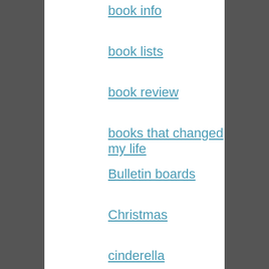book info
book lists
book review
books that changed my life
Bulletin boards
Christmas
cinderella
colors
cookbooks
counting
craft ideas
decorations and events
digital story time
display
dystopian
easy reader